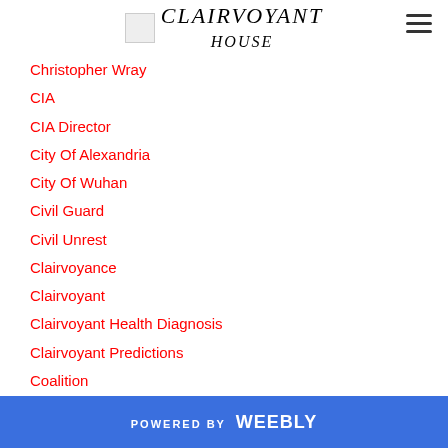CLAIRVOYANT HOUSE
Christopher Wray
CIA
CIA Director
City Of Alexandria
City Of Wuhan
Civil Guard
Civil Unrest
Clairvoyance
Clairvoyant
Clairvoyant Health Diagnosis
Clairvoyant Predictions
Coalition
Codex Gigas
Collection Of Jewellery
Colonial Pipeline
POWERED BY weebly